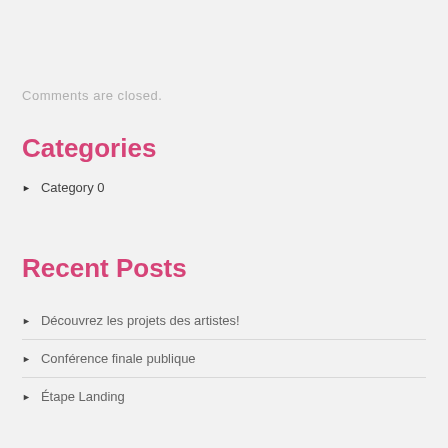Comments are closed.
Categories
Category 0
Recent Posts
Découvrez les projets des artistes!
Conférence finale publique
Étape Landing